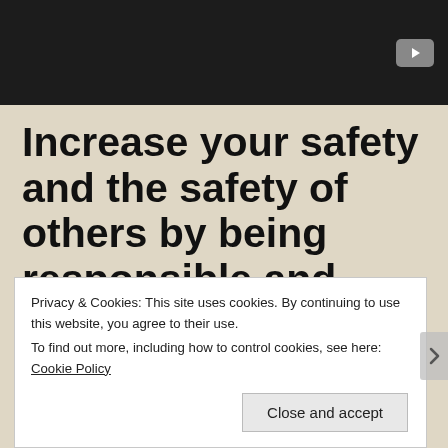[Figure (screenshot): Dark video thumbnail with YouTube play button in top-right corner]
Increase your safety and the safety of others by being responsible and refusing to multitask while driving
Privacy & Cookies: This site uses cookies. By continuing to use this website, you agree to their use.
To find out more, including how to control cookies, see here: Cookie Policy
Close and accept